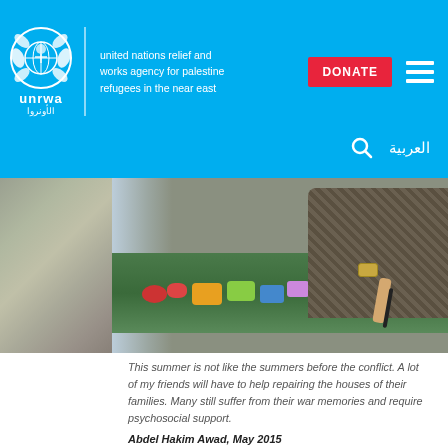UNRWA - united nations relief and works agency for palestine refugees in the near east
[Figure (photo): Overhead/side view of hands working on colorful craft materials at a table, classroom setting]
This summer is not like the summers before the conflict. A lot of my friends will have to help repairing the houses of their families. Many still suffer from their war memories and require psychosocial support.
Abdel Hakim Awad, May 2015
DAY 16
[Figure (photo): A man and a woman wearing a hijab seated in what appears to be a classroom or community center]